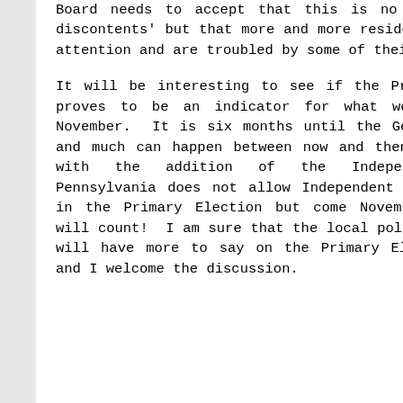Board needs to accept that this is no longer a 'few discontents' but that more and more residents are paying attention and are troubled by some of their decisions.
It will be interesting to see if the Primary Election proves to be an indicator for what we will see in November. It is six months until the General Election and much can happen between now and then, particularly with the addition of the Independent voters. Pennsylvania does not allow Independent voters a voice in the Primary Election but come November, our votes will count! I am sure that the local political analysts will have more to say on the Primary Election results and I welcome the discussion.